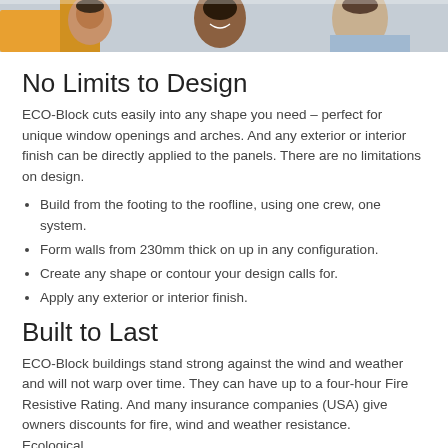[Figure (photo): Photo banner showing smiling construction workers or people, cropped at the top of the page]
No Limits to Design
ECO-Block cuts easily into any shape you need – perfect for unique window openings and arches. And any exterior or interior finish can be directly applied to the panels. There are no limitations on design.
Build from the footing to the roofline, using one crew, one system.
Form walls from 230mm thick on up in any configuration.
Create any shape or contour your design calls for.
Apply any exterior or interior finish.
Built to Last
ECO-Block buildings stand strong against the wind and weather and will not warp over time. They can have up to a four-hour Fire Resistive Rating. And many insurance companies (USA) give owners discounts for fire, wind and weather resistance.
Ecological